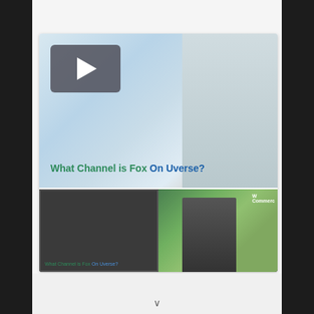Is Avengers Infinity War on Hulu?
[Figure (screenshot): Video player card showing 'What Channel is Fox On Uverse?' with a large play button thumbnail at top, green and blue title text, and two smaller video thumbnails at the bottom strip.]